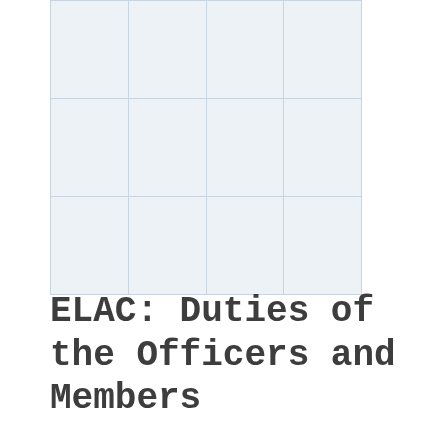|  |  |  |  |
|  |  |  |  |
|  |  |  |  |
ELAC: Duties of the Officers and Members